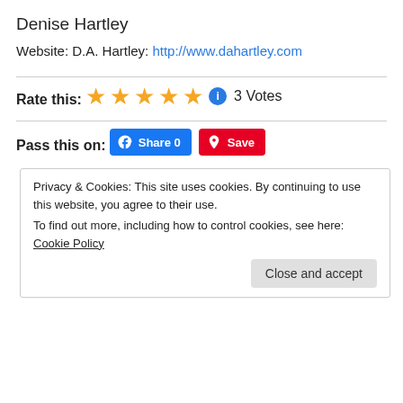Denise Hartley
Website: D.A. Hartley: http://www.dahartley.com
Rate this:
★★★★★ ℹ 3 Votes
Pass this on:
Facebook Share 0 | Pinterest Save
Privacy & Cookies: This site uses cookies. By continuing to use this website, you agree to their use.
To find out more, including how to control cookies, see here: Cookie Policy
Close and accept